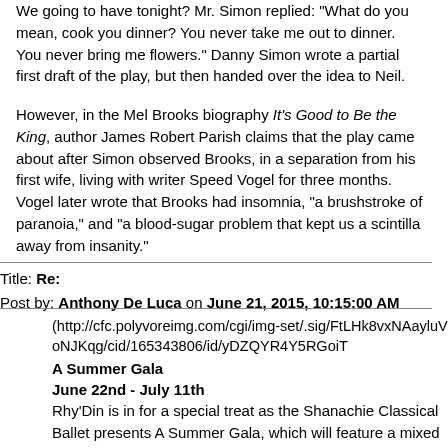We going to have tonight? Mr. Simon replied: "What do you mean, cook you dinner? You never take me out to dinner. You never bring me flowers." Danny Simon wrote a partial first draft of the play, but then handed over the idea to Neil.
However, in the Mel Brooks biography It's Good to Be the King, author James Robert Parish claims that the play came about after Simon observed Brooks, in a separation from his first wife, living with writer Speed Vogel for three months. Vogel later wrote that Brooks had insomnia, "a brushstroke of paranoia," and "a blood-sugar problem that kept us a scintilla away from insanity."
Title: Re:
Post by: Anthony De Luca on June 21, 2015, 10:15:00 AM
(http://cfc.polyvoreimg.com/cgi/img-set/.sig/FtLHk8vxNAayluVoNJKqg/cid/165343806/id/yDZQYR4Y5RGoiT
A Summer Gala
June 22nd - July 11th
Rhy'Din is in for a special treat as the Shanachie Classical Ballet presents A Summer Gala, which will feature a mixed repertory of dances performed by the Shanachie's own troupe of dancers, as well as a few surprise guests, including a series of short classical and contemporary solos and dances from various ballets and original works. The gala will also welcome a return to the stage by the lovely, acclaimed, and talented